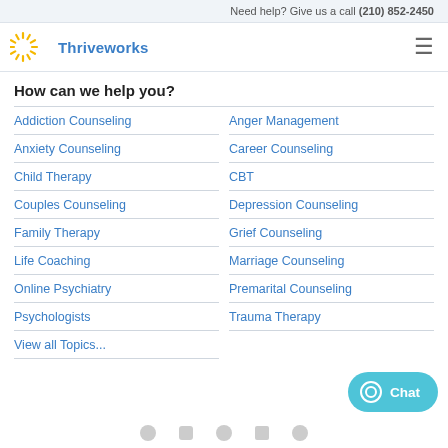Need help? Give us a call (210) 852-2450
[Figure (logo): Thriveworks logo with yellow sunburst and blue text]
How can we help you?
Addiction Counseling
Anger Management
Anxiety Counseling
Career Counseling
Child Therapy
CBT
Couples Counseling
Depression Counseling
Family Therapy
Grief Counseling
Life Coaching
Marriage Counseling
Online Psychiatry
Premarital Counseling
Psychologists
Trauma Therapy
View all Topics...
[Figure (other): Teal chat button with circle-Q icon and Chat label]